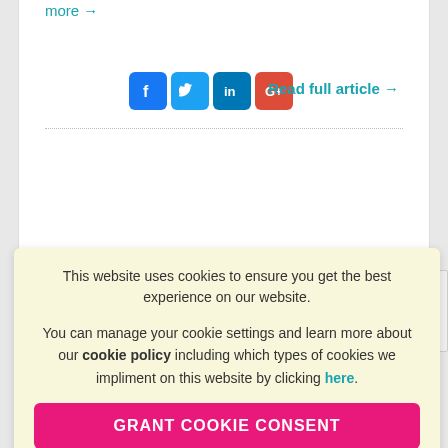more →
[Figure (illustration): Social media share icons: Facebook, Twitter, LinkedIn, Google+]
Read full article →
This website uses cookies to ensure you get the best experience on our website.

You can manage your cookie settings and learn more about our cookie policy including which types of cookies we impliment on this website by clicking here.
GRANT COOKIE CONSENT